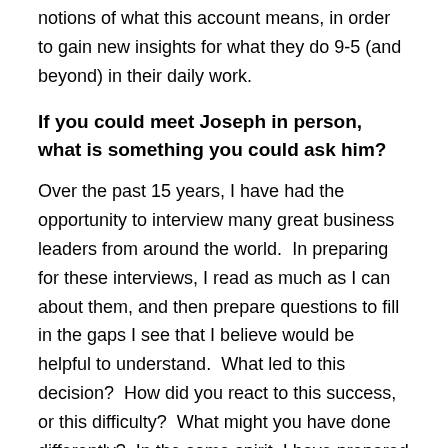notions of what this account means, in order to gain new insights for what they do 9-5 (and beyond) in their daily work.
If you could meet Joseph in person, what is something you could ask him?
Over the past 15 years, I have had the opportunity to interview many great business leaders from around the world. In preparing for these interviews, I read as much as I can about them, and then prepare questions to fill in the gaps I see that I believe would be helpful to understand. What led to this decision? How did you react to this success, or this difficulty? What might you have done differently? In the same spirit, I have prepared some interview questions for Joseph, and these can be found in chapter 29. I hope I have the opportunity to do this